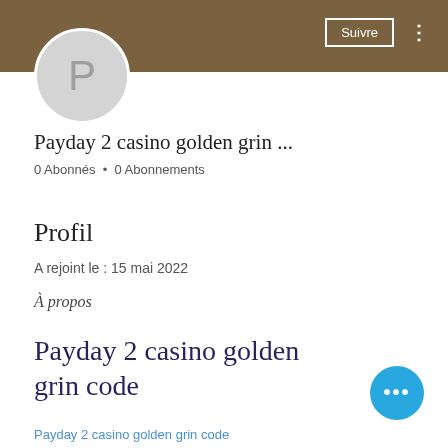[Figure (screenshot): Brown header bar with Suivre button and vertical dots menu]
[Figure (illustration): Circular avatar with letter P on gray background]
Payday 2 casino golden grin ...
0 Abonnés • 0 Abonnements
Profil
A rejoint le : 15 mai 2022
À propos
Payday 2 casino golden grin code
Payday 2 casino golden grin code